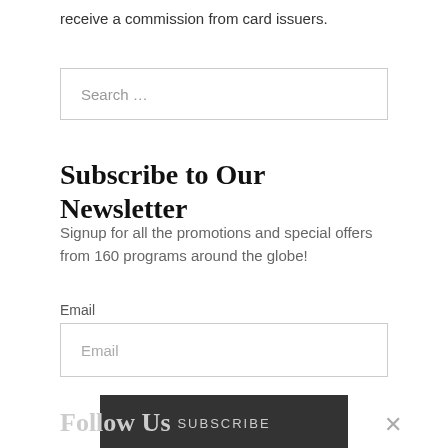receive a commission from card issuers.
Search ...
Subscribe to Our Newsletter
Signup for all the promotions and special offers from 160 programs around the globe!
Email
Email
SUBSCRIBE
Follow Us